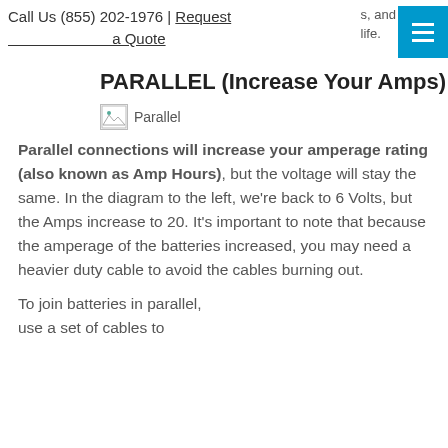Call Us (855) 202-1976 | Request a Quote
s, and life.
PARALLEL (Increase Your Amps)
[Figure (illustration): Broken image placeholder labeled 'Parallel' showing a parallel battery connection diagram]
Parallel connections will increase your amperage rating (also known as Amp Hours), but the voltage will stay the same. In the diagram to the left, we're back to 6 Volts, but the Amps increase to 20. It's important to note that because the amperage of the batteries increased, you may need a heavier duty cable to avoid the cables burning out.
To join batteries in parallel, use a set of cables to